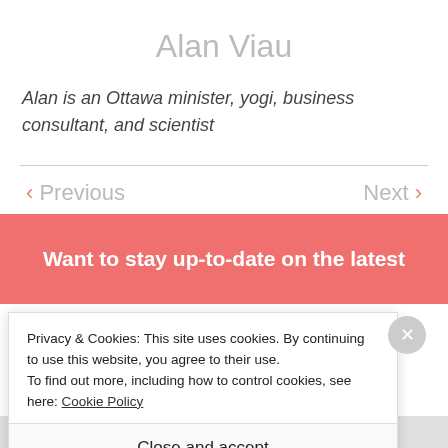Alan Viau
Alan is an Ottawa minister, yogi, business consultant, and scientist
< Previous
Next >
Want to stay up-to-date on the latest
Privacy & Cookies: This site uses cookies. By continuing to use this website, you agree to their use.
To find out more, including how to control cookies, see here: Cookie Policy
Close and accept